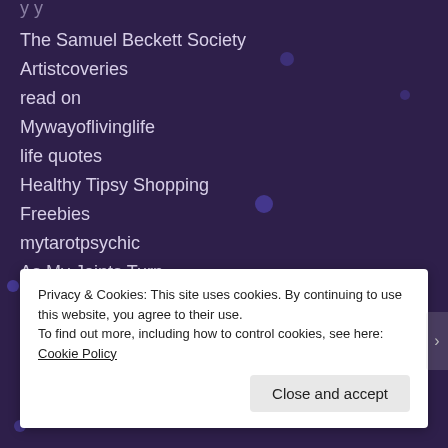The Samuel Beckett Society
Artistcoveries
read on
Mywayoflivinglife
life quotes
Healthy Tipsy Shopping
Freebies
mytarotpsychic
As My Joints Turn
Privacy & Cookies: This site uses cookies. By continuing to use this website, you agree to their use.
To find out more, including how to control cookies, see here: Cookie Policy
Close and accept